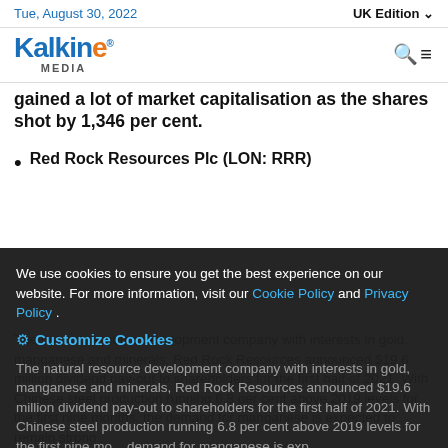Tue, August 30, 2022 | UK Edition
[Figure (logo): Kalkine Media logo with blue and orange text]
gained a lot of market capitalisation as the shares shot by 1,346 per cent.
Red Rock Resources Plc (LON: RRR)
We use cookies to ensure you get the best experience on our website. For more information, visit our Cookie Policy and Privacy Policy .
Customize Cookies
The natural resource development company with interests in gold, manganese and minerals, Red Rock Resources announced $19.6 million dividend pay-out to shareholders for the first half of 2021. With Chinese steel production running 6.8 per cent above 2019 levels for the first nine months, the demand for manganese is expected to remain strong.